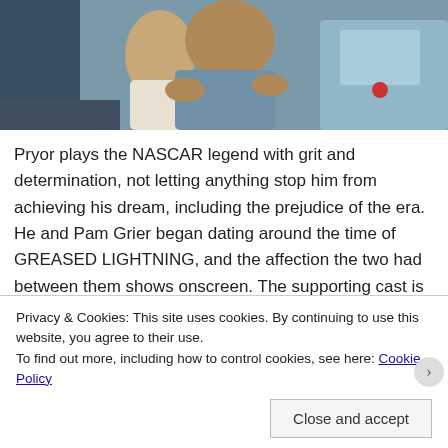[Figure (photo): Two people embracing outdoors, one in a light blue jacket, near a vehicle. Appears to be a film still or documentary photo.]
Pryor plays the NASCAR legend with grit and determination, not letting anything stop him from achieving his dream, including the prejudice of the era. He and Pam Grier began dating around the time of GREASED LIGHTNING, and the affection the two had between them shows onscreen. The supporting cast is
Privacy & Cookies: This site uses cookies. By continuing to use this website, you agree to their use.
To find out more, including how to control cookies, see here: Cookie Policy
Close and accept